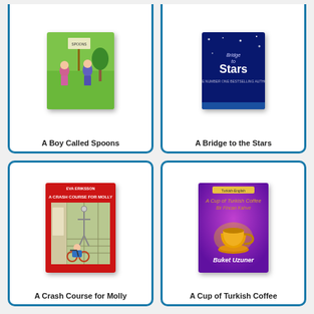[Figure (illustration): Book cover for 'A Boy Called Spoons' with green background showing cartoon children figures]
A Boy Called Spoons
[Figure (illustration): Book cover for 'A Bridge to the Stars' with dark blue background and star text]
A Bridge to the Stars
[Figure (illustration): Book cover for 'A Crash Course for Molly' by Eva Eriksson, red cover showing child on bicycle]
A Crash Course for Molly
[Figure (illustration): Book cover for 'A Cup of Turkish Coffee / Bir Fincan Kahve' by Buket Uzuner, purple cover with coffee cup illustration]
A Cup of Turkish Coffee